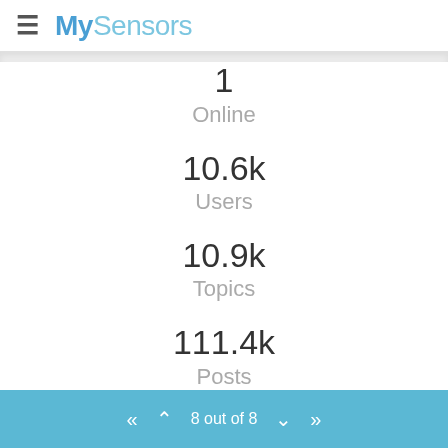MySensors
1
Online
10.6k
Users
10.9k
Topics
111.4k
Posts
8 out of 8